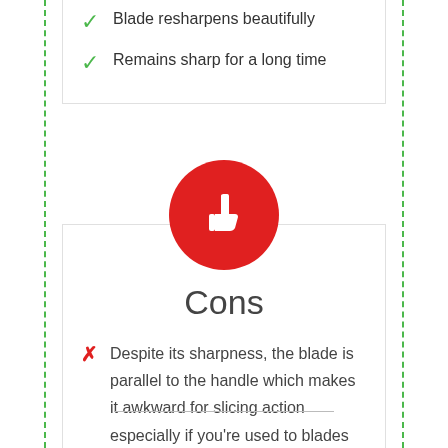Blade resharpens beautifully
Remains sharp for a long time
[Figure (illustration): Red circle with white thumbs-down icon representing Cons section]
Cons
Despite its sharpness, the blade is parallel to the handle which makes it awkward for slicing action especially if you're used to blades that have the bottom at a slight angle to the handle.